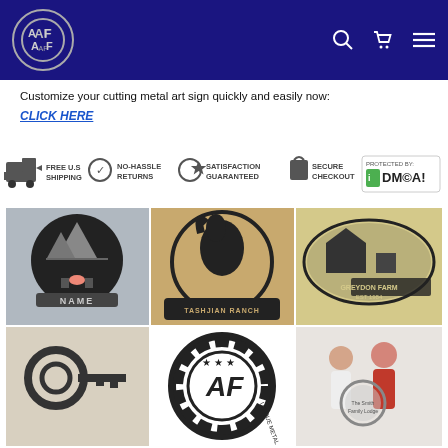[Figure (logo): Website header with dark navy/blue background. AF logo in circle on left, search, cart, and menu icons on right.]
Customize your cutting metal art sign quickly and easily now: CLICK HERE
[Figure (infographic): Trust badge bar: FREE U.S SHIPPING, NO-HASSLE RETURNS, SATISFACTION GUARANTEED, SECURE CHECKOUT, PROTECTED BY: DMCA!]
[Figure (photo): Grid of 6 metal art sign product photos: mountain/campfire scene sign with NAME, Tashjian Ranch horse sign, Greydon Farm Est 1954 oval sign, decorative metal key/infinity, AF unique metal works logo, couple holding round family name sign.]